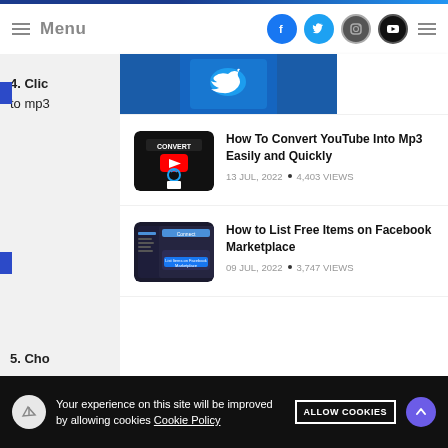Menu
[Figure (screenshot): Partially visible thumbnail of Twitter bird logo on phone screen]
4. Click ... to mp3...
[Figure (screenshot): YouTube to MP3 converter screenshot with CONVERT text, YouTube play button icon, and music note icon]
How To Convert YouTube Into Mp3 Easily and Quickly
13 JUL, 2022 • 4,403 VIEWS
[Figure (screenshot): Facebook Marketplace listing interface screenshot showing dark mode UI with 'List Items on Facebook Marketplace' dialog]
How to List Free Items on Facebook Marketplace
09 JUL, 2022 • 3,747 VIEWS
5. Cho...
Your experience on this site will be improved by allowing cookies Cookie Policy ALLOW COOKIES